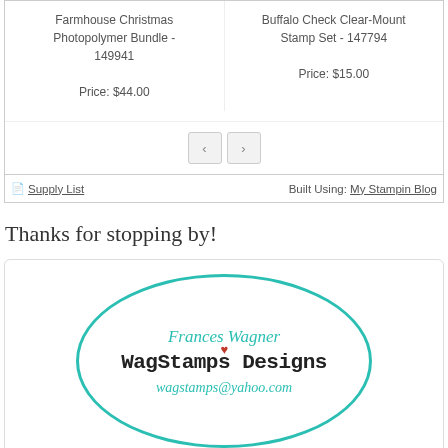Farmhouse Christmas Photopolymer Bundle - 149941
Price: $44.00
Buffalo Check Clear-Mount Stamp Set - 147794
Price: $15.00
Supply List
Built Using: My Stampin Blog
Thanks for stopping by!
[Figure (illustration): Oval-bordered signature card with Frances Wagner, WagStamps Designs, wagstamps@yahoo.com in teal and black handwritten style fonts]